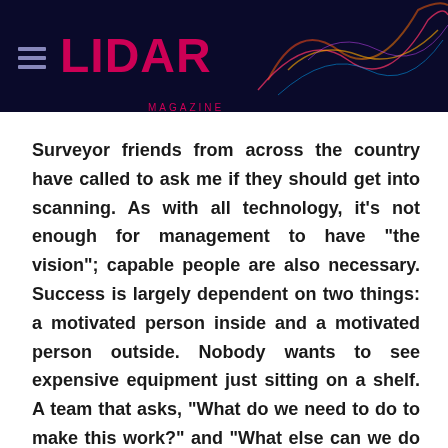LIDAR MAGAZINE
Surveyor friends from across the country have called to ask me if they should get into scanning. As with all technology, it's not enough for management to have "the vision"; capable people are also necessary. Success is largely dependent on two things: a motivated person inside and a motivated person outside. Nobody wants to see expensive equipment just sitting on a shelf. A team that asks, "What do we need to do to make this work?" and "What else can we do with this technology?" will have the best chance of success.